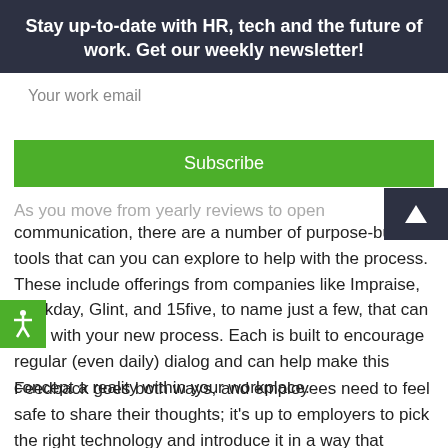Stay up-to-date with HR, tech and the future of work. Get our weekly newsletter!
Your work email
Subscribe
As you move from yearly reviews to open communication, there are a number of purpose-built tools that can you can explore to help with the process. These include offerings from companies like Impraise, Workday, Glint, and 15five, to name just a few, that can help with your new process. Each is built to encourage regular (even daily) dialog and can help make this concept a reality within your workplace.
Feedback goes both ways, and employees need to feel safe to share their thoughts; it’s up to employers to pick the right technology and introduce it in a way that clarifies its intent.